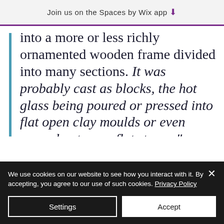Join us on the Spaces by Wix app
into a more or less richly ornamented wooden frame divided into many sections. It was probably cast as blocks, the hot glass being poured or pressed into flat open clay moulds or even poured out upon flat stones."
We use cookies on our website to see how you interact with it. By accepting, you agree to our use of such cookies. Privacy Policy